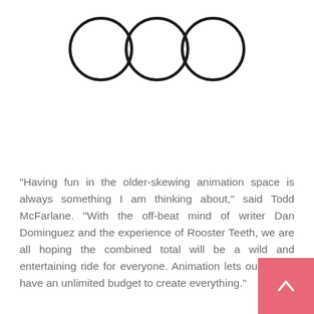[Figure (logo): Three black outlined circles arranged horizontally, evenly spaced]
“Having fun in the older-skewing animation space is always something I am thinking about,” said Todd McFarlane. “With the off-beat mind of writer Dan Dominguez and the experience of Rooster Teeth, we are all hoping the combined total will be a wild and entertaining ride for everyone. Animation lets our minds have an unlimited budget to create everything.”